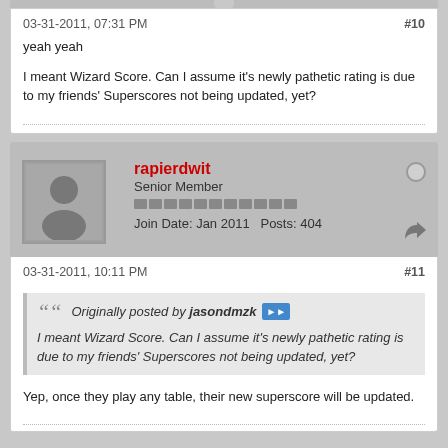03-31-2011, 07:31 PM
#10
yeah yeah
I meant Wizard Score. Can I assume it's newly pathetic rating is due to my friends' Superscores not being updated, yet?
rapierdwit
Senior Member
Join Date: Jan 2011   Posts: 404
03-31-2011, 10:11 PM
#11
Originally posted by jasondmzk
I meant Wizard Score. Can I assume it's newly pathetic rating is due to my friends' Superscores not being updated, yet?
Yep, once they play any table, their new superscore will be updated.